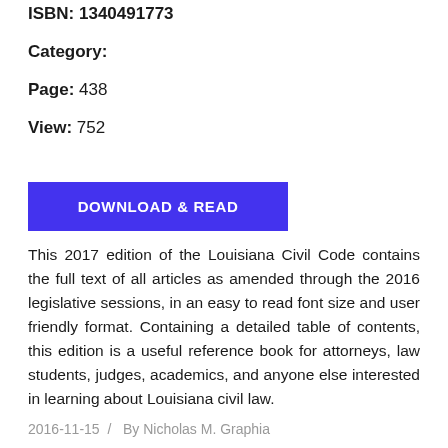ISBN: 1340491773
Category:
Page: 438
View: 752
DOWNLOAD & READ
This 2017 edition of the Louisiana Civil Code contains the full text of all articles as amended through the 2016 legislative sessions, in an easy to read font size and user friendly format. Containing a detailed table of contents, this edition is a useful reference book for attorneys, law students, judges, academics, and anyone else interested in learning about Louisiana civil law.
2016-11-15  /  By Nicholas M. Graphia